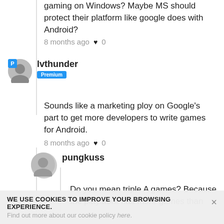gaming on Windows? Maybe MS should protect their platform like google does with Android?
8 months ago ♥ 0
lvthunder Premium
Sounds like a marketing ploy on Google's part to get more developers to write games for Android.
8 months ago ♥ 0
pungkuss
Do you mean triple A games? Because the playstore has more games than
WE USE COOKIES TO IMPROVE YOUR BROWSING EXPERIENCE. Find out more about our cookie policy here.